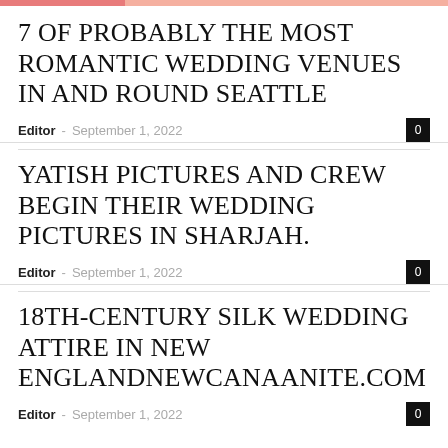7 of probably the most romantic wedding venues in and round Seattle
Editor - September 1, 2022  0
Yatish Pictures and Crew begin their wedding Pictures in Sharjah.
Editor - September 1, 2022  0
18th-Century Silk Wedding Attire in New EnglandNewCanaanite.com
Editor - September 1, 2022  0